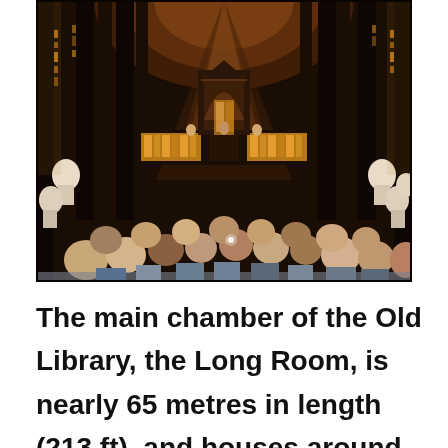[Figure (photo): Interior photograph of the Long Room of the Old Library at Trinity College Dublin. A grand barrel-vaulted hall lined with towering dark wooden bookshelves and marble busts on pedestals. An ornate wooden gallery/balcony is visible in the middle distance with golden book spines glowing under warm lighting. A crowd of tourists fills the foreground, with marble busts visible on both sides.]
The main chamber of the Old Library, the Long Room, is nearly 65 metres in length (213 ft), and houses around 200,000 of the